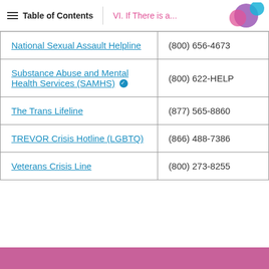Table of Contents | VI. If There is a...
| Resource | Phone |
| --- | --- |
| National Sexual Assault Helpline | (800) 656-4673 |
| Substance Abuse and Mental Health Services (SAMHS) ✓ | (800) 622-HELP |
| The Trans Lifeline | (877) 565-8860 |
| TREVOR Crisis Hotline (LGBTQ) | (866) 488-7386 |
| Veterans Crisis Line | (800) 273-8255 |